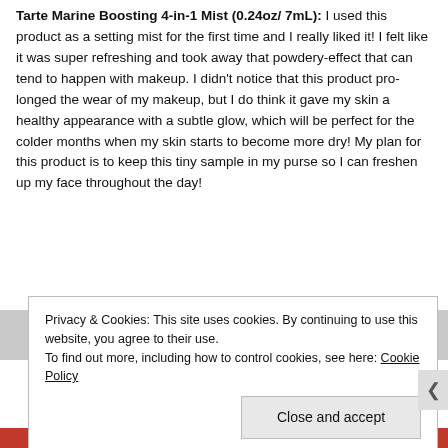Tarte Marine Boosting 4-in-1 Mist (0.24oz/ 7mL): I used this product as a setting mist for the first time and I really liked it! I felt like it was super refreshing and took away that powdery-effect that can tend to happen with makeup. I didn't notice that this product pro-longed the wear of my makeup, but I do think it gave my skin a healthy appearance with a subtle glow, which will be perfect for the colder months when my skin starts to become more dry! My plan for this product is to keep this tiny sample in my purse so I can freshen up my face throughout the day!
Privacy & Cookies: This site uses cookies. By continuing to use this website, you agree to their use. To find out more, including how to control cookies, see here: Cookie Policy
Close and accept